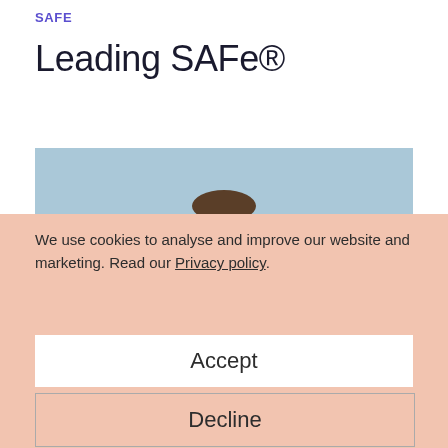SAFE
Leading SAFe®
[Figure (photo): A man's head and upper body visible above a cookie consent overlay, against a light blue background.]
We use cookies to analyse and improve our website and marketing. Read our Privacy policy.
Accept
Decline